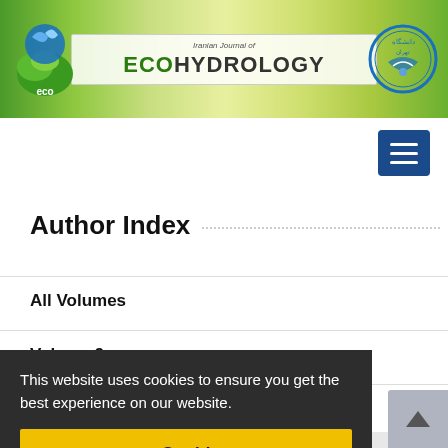[Figure (logo): Iranian Journal of Ecohydrology header banner with ECO logo on left, journal title in center, university logo on right]
Author Index
All Volumes
Volume 9
Volume 8
Volume 6
Volume 5
This website uses cookies to ensure you get the best experience on our website.
Got it!